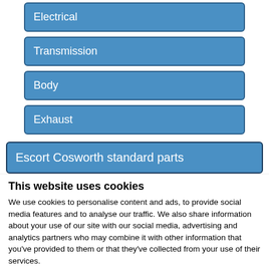Electrical
Transmission
Body
Exhaust
Escort Cosworth standard parts
This website uses cookies
We use cookies to personalise content and ads, to provide social media features and to analyse our traffic. We also share information about your use of our site with our social media, advertising and analytics partners who may combine it with other information that you've provided to them or that they've collected from your use of their services.
Allow all cookies
Allow selection
Use necessary cookies only
Necessary  Preferences  Statistics  Marketing  Show details